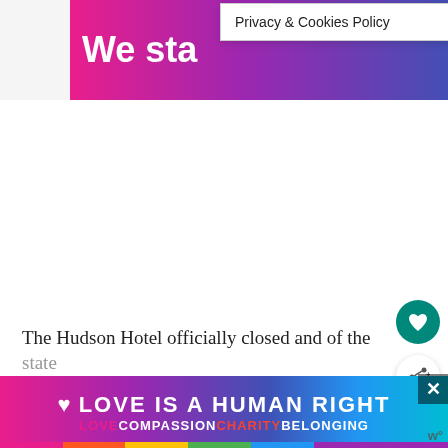[Figure (screenshot): Top banner advertisement with pink, purple, and blue gradient background showing partial text 'We sta...']
Privacy & Cookies Policy
[Figure (screenshot): White empty content area in the middle of the page]
[Figure (screenshot): Scroll-up button (teal square with upward arrow chevron)]
[Figure (screenshot): Heart/favorite button (teal circular button with heart icon)]
[Figure (screenshot): Share button (white circular button with share icon and plus sign)]
The Hudson Hotel officially closed and of the state
[Figure (infographic): Bottom banner: LOVE IS A HUMAN RIGHT with rainbow colors and text LOVECOMPASSIONCHARITYBELONGING]